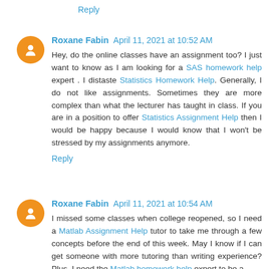Reply
Roxane Fabin April 11, 2021 at 10:52 AM
Hey, do the online classes have an assignment too? I just want to know as I am looking for a SAS homework help expert . I distaste Statistics Homework Help. Generally, I do not like assignments. Sometimes they are more complex than what the lecturer has taught in class. If you are in a position to offer Statistics Assignment Help then I would be happy because I would know that I won't be stressed by my assignments anymore.
Reply
Roxane Fabin April 11, 2021 at 10:54 AM
I missed some classes when college reopened, so I need a Matlab Assignment Help tutor to take me through a few concepts before the end of this week. May I know if I can get someone with more tutoring than writing experience? Plus, I need the Matlab homework help expert to be a